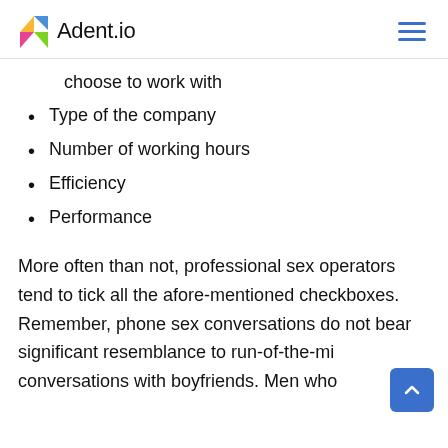Adent.io
choose to work with
Type of the company
Number of working hours
Efficiency
Performance
More often than not, professional sex operators tend to tick all the afore-mentioned checkboxes. Remember, phone sex conversations do not bear significant resemblance to run-of-the-mill conversations with boyfriends. Men who